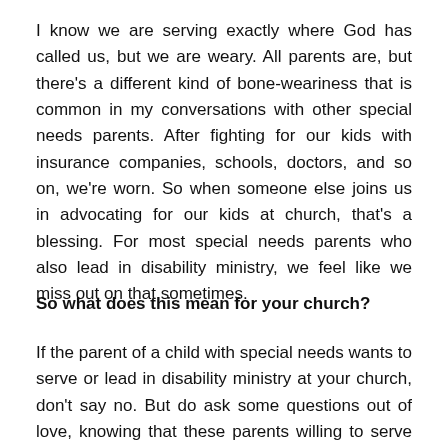I know we are serving exactly where God has called us, but we are weary. All parents are, but there's a different kind of bone-weariness that is common in my conversations with other special needs parents. After fighting for our kids with insurance companies, schools, doctors, and so on, we're worn. So when someone else joins us in advocating for our kids at church, that's a blessing. For most special needs parents who also lead in disability ministry, we feel like we miss out on that sometimes.
So what does this mean for your church?
If the parent of a child with special needs wants to serve or lead in disability ministry at your church, don't say no. But do ask some questions out of love, knowing that these parents willing to serve also need to be served too. Are